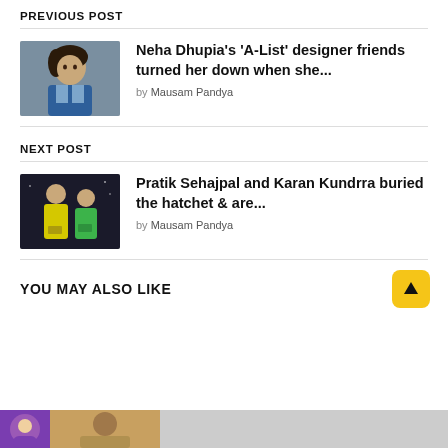PREVIOUS POST
[Figure (photo): Thumbnail photo of Neha Dhupia in a blue outfit]
Neha Dhupia's 'A-List' designer friends turned her down when she...
by Mausam Pandya
NEXT POST
[Figure (photo): Thumbnail photo of Pratik Sehajpal and Karan Kundrra in yellow/green shirts]
Pratik Sehajpal and Karan Kundrra buried the hatchet & are...
by Mausam Pandya
YOU MAY ALSO LIKE
[Figure (photo): Bottom strip preview thumbnails]